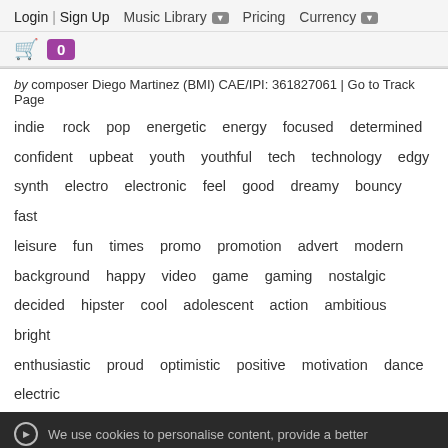Login | Sign Up   Music Library   Pricing   Currency
0 (cart badge)
by composer Diego Martinez (BMI) CAE/IPI: 361827061 | Go to Track Page
indie  rock  pop  energetic  energy  focused  determined  confident  upbeat  youth  youthful  tech  technology  edgy  synth  electro  electronic  feel  good  dreamy  bouncy  fast  leisure  fun  times  promo  promotion  advert  modern  background  happy  video  game  gaming  nostalgic  decided  hipster  cool  adolescent  action  ambitious  bright  enthusiastic  proud  optimistic  positive  motivation  dance  electric
Higher Plans is an energetic rock pop track with upbeat indie vibes. Features edgy electric guitars, fast paced drum beat and dreamy synths. Perfect for promos, youth, technology, sports, vlogs, summer, travels, video games, time-lapse, presentations, tutorials, and more.
We use cookies to personalise content, provide a better...